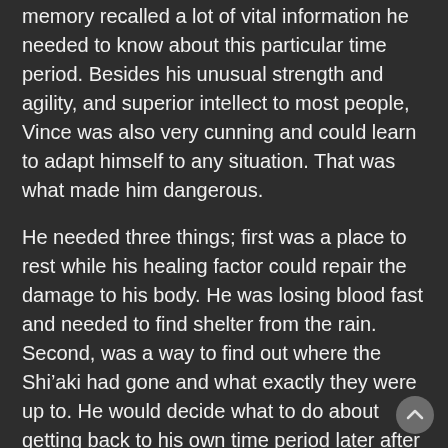memory recalled a lot of vital information he needed to know about this particular time period. Besides his unusual strength and agility, and superior intellect to most people, Vince was also very cunning and could learn to adapt himself to any situation. That was what made him dangerous.
He needed three things; first was a place to rest while his healing factor could repair the damage to his body. He was losing blood fast and needed to find shelter from the rain. Second, was a way to find out where the Shi’aki had gone and what exactly they were up to. He would decide what to do about getting back to his own time period later after he put the Shi’aki to rest once and for all.
From his point of view, this place was as good of a place as any to continue taking his revenge on them. Besides that, it seemed to have a lot more to offer in the way of technology and energy sources than his time period had. That would definitely give